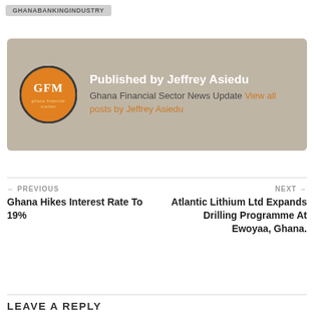GHANABANKINGINDUSTRY
[Figure (other): Author card with GFM logo (orange circle with GFM text), published by Jeffrey Asiedu, Ghana Financial Sector News Update, View all posts by Jeffrey Asiedu]
← PREVIOUS
Ghana Hikes Interest Rate To 19%
NEXT →
Atlantic Lithium Ltd Expands Drilling Programme At Ewoyaa, Ghana.
LEAVE A REPLY